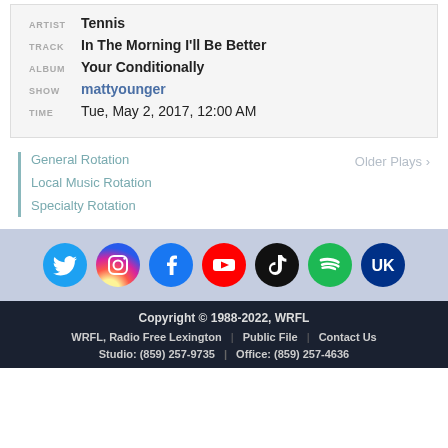| ARTIST | Tennis |
| TRACK | In The Morning I'll Be Better |
| ALBUM | Your Conditionally |
| SHOW | mattyounger |
| TIME | Tue, May 2, 2017, 12:00 AM |
General Rotation
Local Music Rotation
Specialty Rotation
Older Plays >
[Figure (infographic): Social media icons: Twitter, Instagram, Facebook, YouTube, TikTok, Spotify, UK (University of Kentucky)]
Copyright © 1988-2022, WRFL
WRFL, Radio Free Lexington | Public File | Contact Us
Studio: (859) 257-9735 | Office: (859) 257-4636